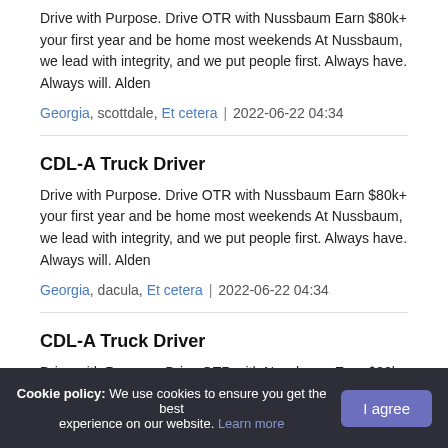Drive with Purpose. Drive OTR with Nussbaum Earn $80k+ your first year and be home most weekends At Nussbaum, we lead with integrity, and we put people first. Always have. Always will. Alden
Georgia, scottdale, Et cetera  |  2022-06-22 04:34
CDL-A Truck Driver
Drive with Purpose. Drive OTR with Nussbaum Earn $80k+ your first year and be home most weekends At Nussbaum, we lead with integrity, and we put people first. Always have. Always will. Alden
Georgia, dacula, Et cetera  |  2022-06-22 04:34
CDL-A Truck Driver
Drive with Purpose. Drive OTR with Nussbaum Earn $80k+
Cookie policy: We use cookies to ensure you get the best experience on our website. Learn more